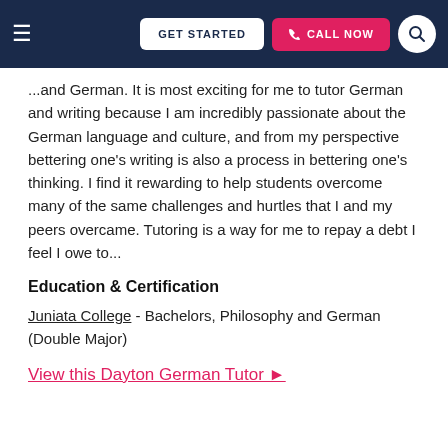GET STARTED | CALL NOW
...and German. It is most exciting for me to tutor German and writing because I am incredibly passionate about the German language and culture, and from my perspective bettering one's writing is also a process in bettering one's thinking. I find it rewarding to help students overcome many of the same challenges and hurtles that I and my peers overcame. Tutoring is a way for me to repay a debt I feel I owe to...
Education & Certification
Juniata College - Bachelors, Philosophy and German (Double Major)
View this Dayton German Tutor ▶